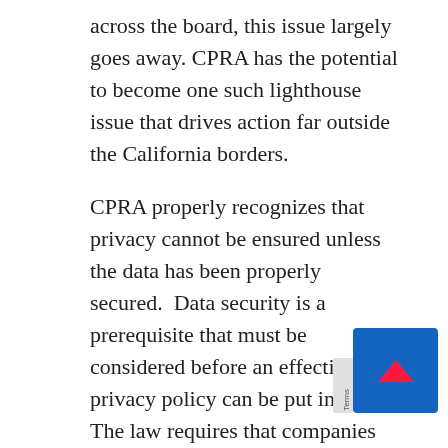across the board, this issue largely goes away. CPRA has the potential to become one such lighthouse issue that drives action far outside the California borders.
CPRA properly recognizes that privacy cannot be ensured unless the data has been properly secured.  Data security is a prerequisite that must be considered before an effective data privacy policy can be put in place.  The law requires that companies that store personal information implement reasonable measures to detect security incidents, resist malicious or illegal actions, and to aid in the prosecution of malicious individuals responsible for such actions.  The requirement that companies aid in prosecution...